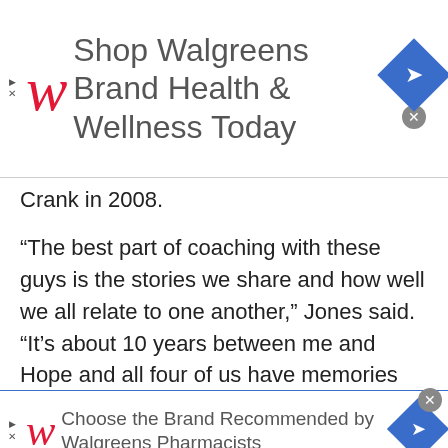[Figure (other): Walgreens advertisement banner: Shop Walgreens Brand Health & Wellness Today]
Crank in 2008.
“The best part of coaching with these guys is the stories we share and how well we all relate to one another,” Jones said. “It’s about 10 years between me and Hope and all four of us have memories that are almost identical.
“Being HOGS is something we all take great pride in. It’s like a brotherhood inside of the Raider family.”
[Figure (other): Walgreens advertisement banner: Choose the Brand Recommended by Walgreens Pharmacists]